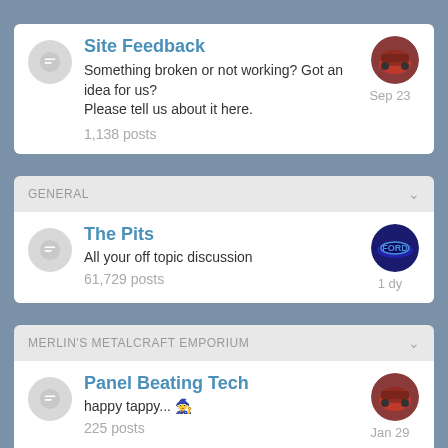Site Feedback
Something broken or not working? Got an idea for us? Please tell us about it here.
1,138 posts
GENERAL
The Pits
All your off topic discussion
61,729 posts
MERLIN'S METALCRAFT EMPORIUM
Panel Beating Tech
happy tappy... 🧙
225 posts